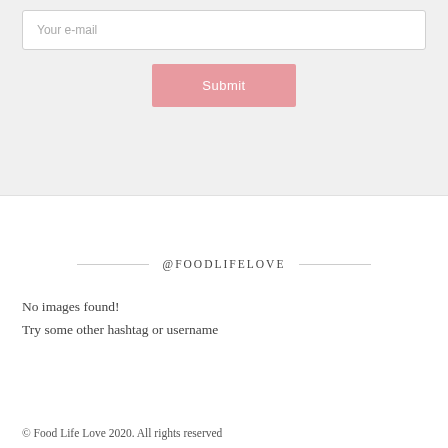Your e-mail
Submit
@FOODLIFELOVE
No images found!
Try some other hashtag or username
© Food Life Love 2020. All rights reserved